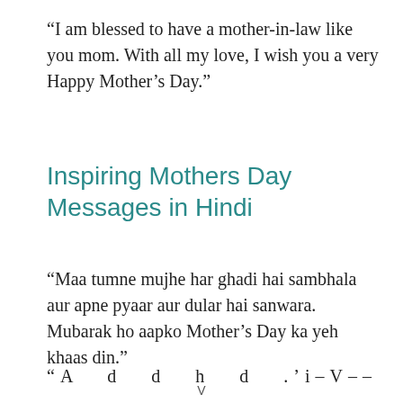“I am blessed to have a mother-in-law like you mom. With all my love, I wish you a very Happy Mother’s Day.”
Inspiring Mothers Day Messages in Hindi
“Maa tumne mujhe har ghadi hai sambhala aur apne pyaar aur dular hai sanwara. Mubarak ho aapko Mother’s Day ka yeh khaas din.”
“A …
V